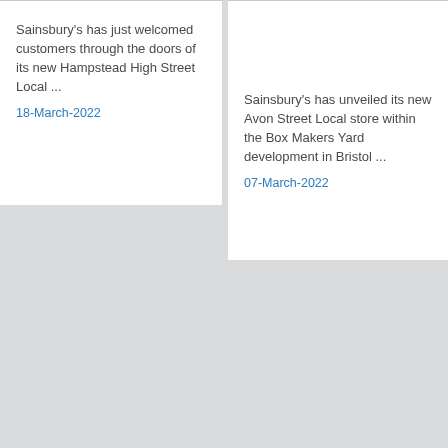Sainsbury's has just welcomed customers through the doors of its new Hampstead High Street Local ...
18-March-2022
Sainsbury's has unveiled its new Avon Street Local store within the Box Makers Yard development in Bristol ...
07-March-2022